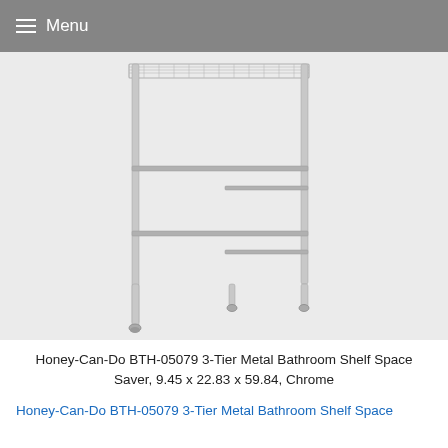Menu
[Figure (photo): A chrome metal 3-tier bathroom shelf space saver with grid shelves and adjustable legs, shown on a light gray background.]
Honey-Can-Do BTH-05079 3-Tier Metal Bathroom Shelf Space Saver, 9.45 x 22.83 x 59.84, Chrome
Honey-Can-Do BTH-05079 3-Tier Metal Bathroom Shelf Space